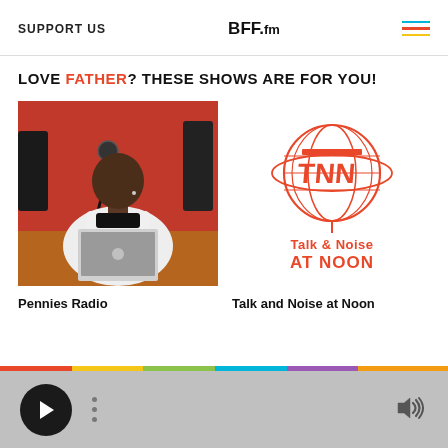SUPPORT US | BFF.fm
LOVE FATHER? THESE SHOWS ARE FOR YOU!
[Figure (photo): Photo of a young man sitting at a desk with a microphone and laptop in a radio studio with red wall]
[Figure (logo): Talk & Noise at Noon logo: red globe graphic with letters TNN and text 'Talk & Noise AT NOON' in red]
Pennies Radio
Talk and Noise at Noon
Audio player bar with play button and volume control